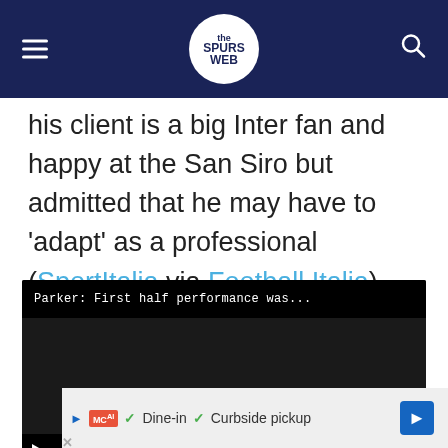The Spurs Web
his client is a big Inter fan and happy at the San Siro but admitted that he may have to ‘adapt’ as a professional (SportItalia via Football Italia).
[Figure (screenshot): Embedded video player with black background showing title 'Parker: First half performance was...' and video controls showing 0:00 timestamp with play, mute, and fullscreen buttons. A close (X) button appears at bottom right.]
[Figure (screenshot): Advertisement bar showing McAl brand logo, checkmarks for Dine-in and Curbside pickup options, and a blue navigation icon.]